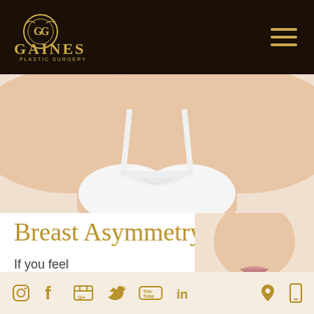Gaines Plastic Surgery - navigation header
[Figure (photo): Close-up photo of a woman's chest/neckline area wearing a white bra, on white background, illustrating breast asymmetry topic]
Breast Asymmetry
[Figure (photo): Close-up photo of a woman's lower face and neck, on white background]
If you feel that your
Social media icons: Instagram, Facebook, Google+, Twitter, YouTube, LinkedIn | Location icon | Mobile icon